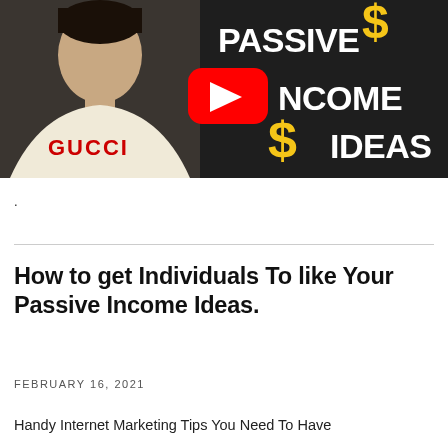[Figure (screenshot): YouTube video thumbnail showing a young man in a white Gucci hoodie on the left side, with a red YouTube play button in the center, and bold white and yellow text reading 'PASSIVE INCOME IDEAS' with yellow dollar signs on a dark background to the right.]
.
How to get Individuals To like Your Passive Income Ideas.
FEBRUARY 16, 2021
Handy Internet Marketing Tips You Need To Have